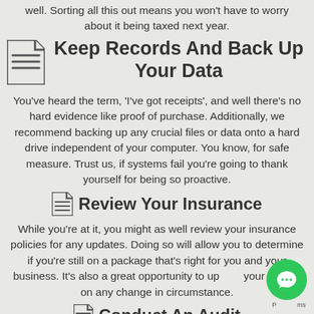well. Sorting all this out means you won't have to worry about it being taxed next year.
Keep Records And Back Up Your Data
You've heard the term, 'I've got receipts', and well there's no hard evidence like proof of purchase. Additionally, we recommend backing up any crucial files or data onto a hard drive independent of your computer. You know, for safe measure. Trust us, if systems fail you're going to thank yourself for being so proactive.
Review Your Insurance
While you're at it, you might as well review your insurance policies for any updates. Doing so will allow you to determine if you're still on a package that's right for you and your business. It's also a great opportunity to update your insurer on any change in circumstance.
Conduct An Audit